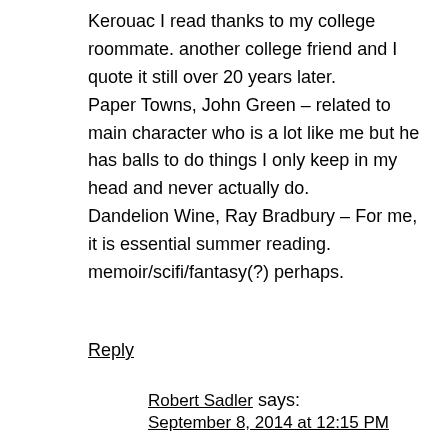Kerouac I read thanks to my college roommate. another college friend and I quote it still over 20 years later. Paper Towns, John Green – related to main character who is a lot like me but he has balls to do things I only keep in my head and never actually do. Dandelion Wine, Ray Bradbury – For me, it is essential summer reading. memoir/scifi/fantasy(?) perhaps.
Reply
Robert Sadler says: September 8, 2014 at 12:15 PM